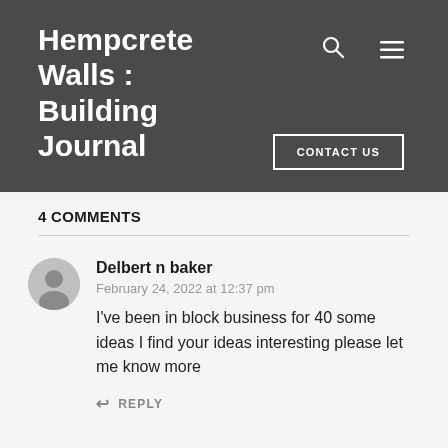Hempcrete Walls : Building Journal
4 COMMENTS
Delbert n baker
February 24, 2022 at 12:37 pm
I've been in block business for 40 some ideas I find your ideas interesting please let me know more
REPLY